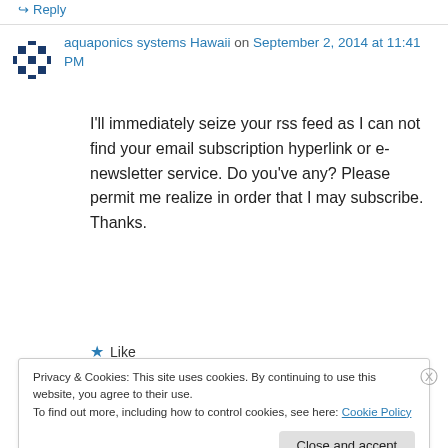↪ Reply
aquaponics systems Hawaii on September 2, 2014 at 11:41 PM
I'll immediately seize your rss feed as I can not find your email subscription hyperlink or e-newsletter service. Do you've any? Please permit me realize in order that I may subscribe. Thanks.
★ Like
Privacy & Cookies: This site uses cookies. By continuing to use this website, you agree to their use.
To find out more, including how to control cookies, see here: Cookie Policy
Close and accept